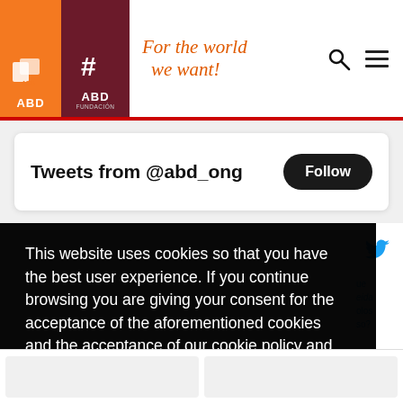[Figure (logo): ABD organization logo with orange and maroon blocks, tagline 'For the world we want!']
Tweets from @abd_ong
Follow
This website uses cookies so that you have the best user experience. If you continue browsing you are giving your consent for the acceptance of the aforementioned cookies and the acceptance of our cookie policy and privacy policy. Learn more
I AGREE